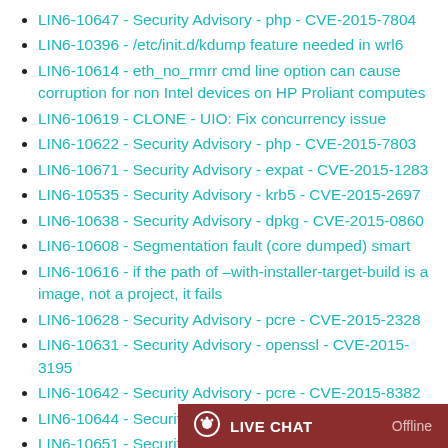LIN6-10647 - Security Advisory - php - CVE-2015-7804
LIN6-10396 - /etc/init.d/kdump feature needed in wrl6
LIN6-10614 - eth_no_rmrr cmd line option can cause corruption for non Intel devices on HP Proliant computes
LIN6-10619 - CLONE - UIO: Fix concurrency issue
LIN6-10622 - Security Advisory - php - CVE-2015-7803
LIN6-10671 - Security Advisory - expat - CVE-2015-1283
LIN6-10535 - Security Advisory - krb5 - CVE-2015-2697
LIN6-10638 - Security Advisory - dpkg - CVE-2015-0860
LIN6-10608 - Segmentation fault (core dumped) smart
LIN6-10616 - if the path of –with-installer-target-build is a image, not a project, it fails
LIN6-10628 - Security Advisory - pcre - CVE-2015-2328
LIN6-10631 - Security Advisory - openssl - CVE-2015-3195
LIN6-10642 - Security Advisory - pcre - CVE-2015-8382
LIN6-10644 - Security Advi...
LIN6-10651 - Security Advi...